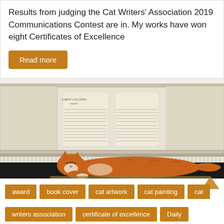Results from judging the Cat Writers' Association 2019 Communications Contest are in. My works have won eight Certificates of Excellence
Read more
[Figure (illustration): Painting of an orange tabby cat lying down under a piano keyboard, with sheet music visible above on the piano music stand.]
award
book cover
cat artwork
cat painting
cat
writers association
certificate of excellence
Daily